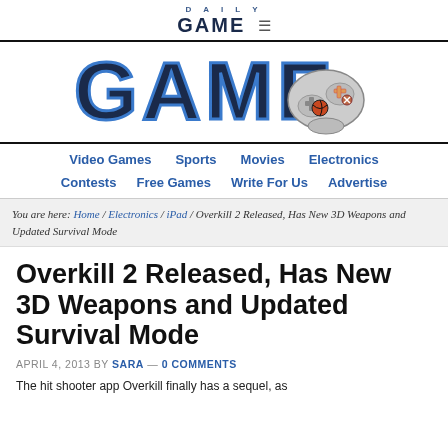DAILY GAME ≡
[Figure (logo): Daily Game logo with large bold GAME text in dark navy/black with blue outline and a game controller icon to the right]
Video Games  Sports  Movies  Electronics  Contests  Free Games  Write For Us  Advertise
You are here: Home / Electronics / iPad / Overkill 2 Released, Has New 3D Weapons and Updated Survival Mode
Overkill 2 Released, Has New 3D Weapons and Updated Survival Mode
APRIL 4, 2013 BY SARA — 0 COMMENTS
The hit shooter app Overkill finally has a sequel, as